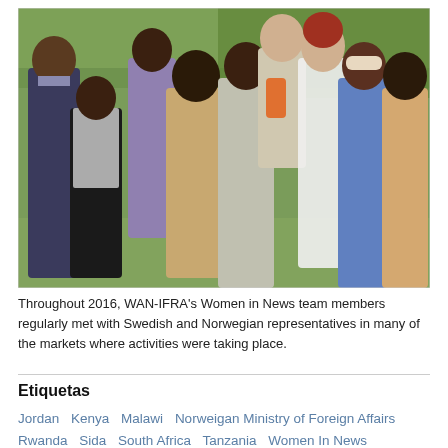[Figure (photo): Group photo of approximately 9 people standing outdoors in a garden with green hedges. The group is diverse, including men and women of various backgrounds, smiling at the camera. This is a WAN-IFRA Women in News team meeting photo.]
Throughout 2016, WAN-IFRA's Women in News team members regularly met with Swedish and Norwegian representatives in many of the markets where activities were taking place.
Etiquetas
Jordan
Kenya
Malawi
Norweigan Ministry of Foreign Affairs
Rwanda
Sida
South Africa
Tanzania
Women In News
Zimbabwe